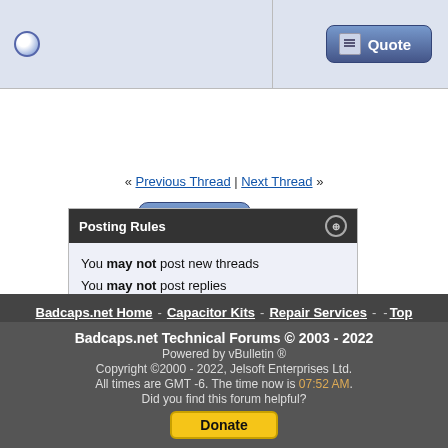[Figure (screenshot): Top bar with radio button icon on left and Quote button on right]
[Figure (screenshot): Post Reply button]
« Previous Thread | Next Thread »
Posting Rules
You may not post new threads
You may not post replies
You may not post attachments
You may not edit your posts
BB code is On
Smilies are On
[IMG] code is On
HTML code is Off
Forum Rules
Forum Jump
Troubleshooting Power Supplies and R
Badcaps.net Home - Capacitor Kits - Repair Services - - Top
Badcaps.net Technical Forums © 2003 - 2022
Powered by vBulletin ®
Copyright ©2000 - 2022, Jelsoft Enterprises Ltd.
All times are GMT -6. The time now is 07:52 AM.
Did you find this forum helpful?